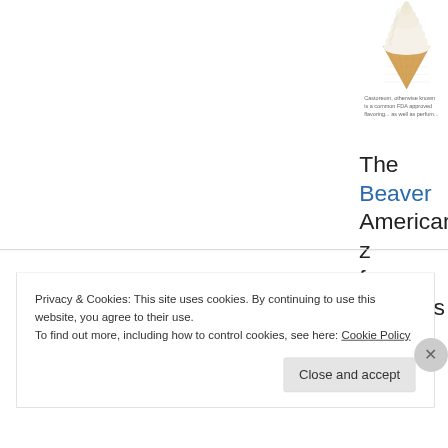[Figure (photo): Soft-serve ice cream cone, vanilla, in a wafer cone, viewed from the side against a white background]
Castoreum, otherwise known... is a common FDA approved flavoring... as well as perfum...
The Beaver American z for TAURus
Privacy & Cookies: This site uses cookies. By continuing to use this website, you agree to their use.
To find out more, including how to control cookies, see here: Cookie Policy
Close and accept